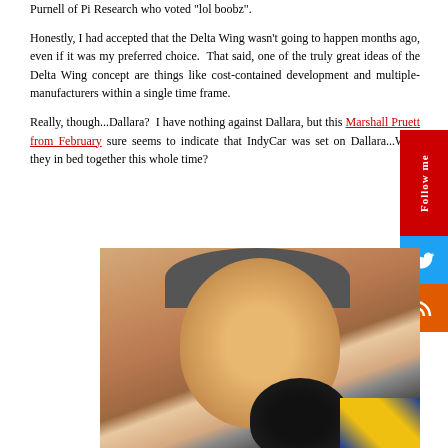Purnell of Pi Research who voted "lol boobz".
Honestly, I had accepted that the Delta Wing wasn't going to happen months ago, even if it was my preferred choice. That said, one of the truly great ideas of the Delta Wing concept are things like cost-contained development and multiple-manufacturers within a single time frame.
Really, though...Dallara? I have nothing against Dallara, but this Marshall Pruett from February sure seems to indicate that IndyCar was set on Dallara...Were they in bed together this whole time?
[Figure (photo): A humorous photo showing two people appearing to be in bed together, used as a visual pun for the rhetorical question about Dallara.]